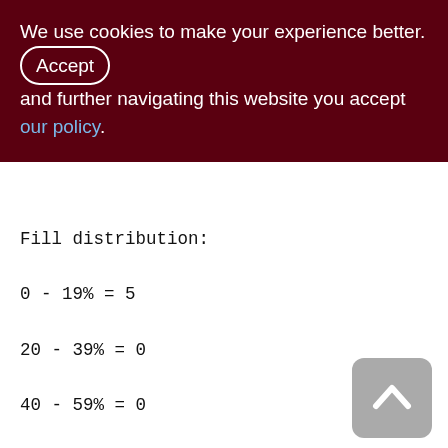We use cookies to make your experience better. By accepting and further navigating this website you accept our policy.
Fill distribution:
0 - 19% = 5
20 - 39% = 0
40 - 59% = 0
60 - 79% = 51
80 - 99% = 32
Index PK_INVNT_SALDO (0)
Root page: 285, depth: 1, leaf buckets: 1, nodes: 400
Average node length: 11.22, total dup: max dup: 0
Average key length: 10.22, compression